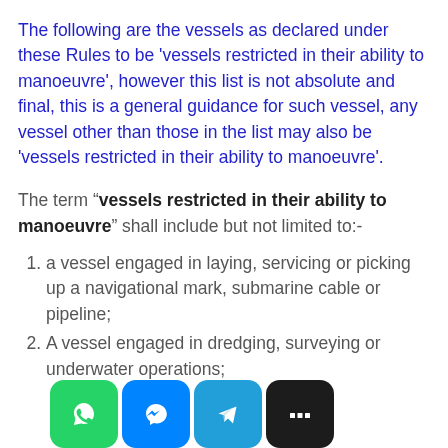The following are the vessels as declared under these Rules to be 'vessels restricted in their ability to manoeuvre', however this list is not absolute and final, this is a general guidance for such vessel, any vessel other than those in the list may also be 'vessels restricted in their ability to manoeuvre'.
The term "vessels restricted in their ability to manoeuvre" shall include but not limited to:-
a vessel engaged in laying, servicing or picking up a navigational mark, submarine cable or pipeline;
A vessel engaged in dredging, surveying or underwater operations;